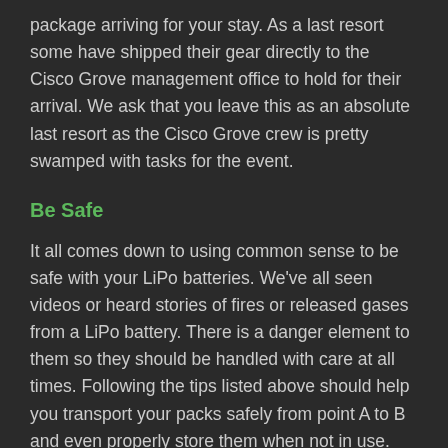package arriving for your stay. As a last resort some have shipped their gear directly to the Cisco Grove management office to hold for their arrival. We ask that you leave this as an absolute last resort as the Cisco Grove crew is pretty swamped with tasks for the event.
Be Safe
It all comes down to using common sense to be safe with your LiPo batteries. We've all seen videos or heard stories of fires or released gases from a LiPo battery. There is a danger element to them so they should be handled with care at all times. Following the tips listed above should help you transport your packs safely from point A to B and even properly store them when not in use. Travel safe and we'll see you at Axialfest!
DISCLAIMER: Axial Racing and the author are not responsible for any incidents in relation to the information given above. The information given is only a tool for assistance. Proper use and transport of any type of battery is the sole responsibility of the